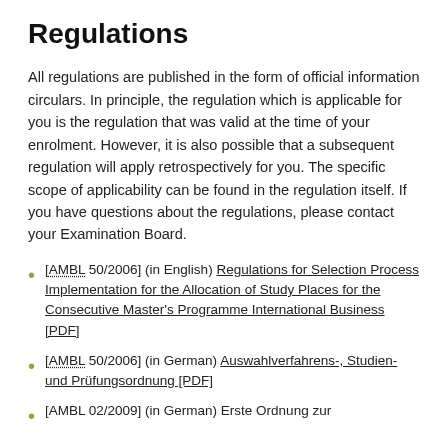Regulations
All regulations are published in the form of official information circulars. In principle, the regulation which is applicable for you is the regulation that was valid at the time of your enrolment. However, it is also possible that a subsequent regulation will apply retrospectively for you. The specific scope of applicability can be found in the regulation itself. If you have questions about the regulations, please contact your Examination Board.
[AMBL 50/2006] (in English) Regulations for Selection Process Implementation for the Allocation of Study Places for the Consecutive Master's Programme International Business [PDF]
[AMBL 50/2006] (in German) Auswahlverfahrens-, Studien- und Prüfungsordnung [PDF]
[AMBL 02/2009] (in German) Erste Ordnung zur